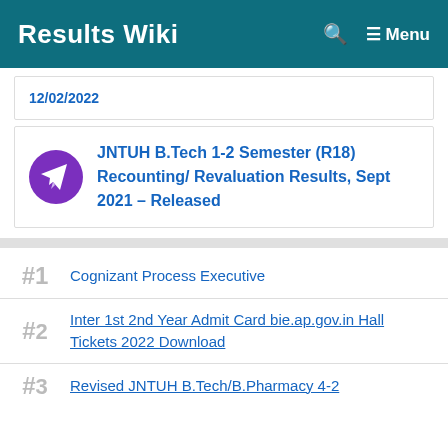Results Wiki  🔍  ☰ Menu
12/02/2022
JNTUH B.Tech 1-2 Semester (R18) Recounting/ Revaluation Results, Sept 2021 – Released
#1  Cognizant Process Executive
#2  Inter 1st 2nd Year Admit Card bie.ap.gov.in Hall Tickets 2022 Download
#3  Revised JNTUH B.Tech/B.Pharmacy 4-2